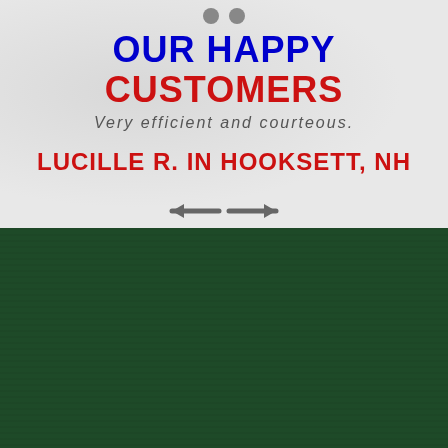OUR HAPPY CUSTOMERS
Very efficient and courteous.
LUCILLE R. IN HOOKSETT, NH
[Figure (illustration): Navigation arrows pointing left and right]
[Figure (logo): Boda Carpet Cleaning logo with red BODA text and blue CARPET CLEANING text with diamond/carpet icon]
NAVIGATION
Home
Services
Carpet Cleaning
Tile & Grout Cleaning